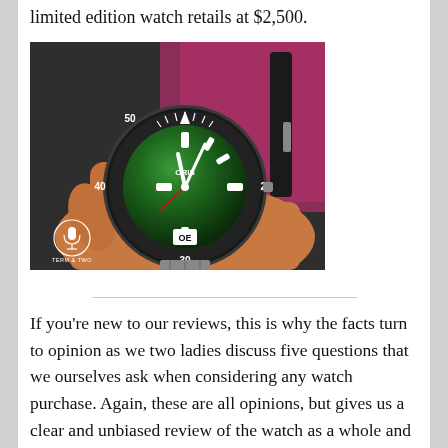limited edition watch retails at $2,500.
[Figure (photo): Hand holding an Oris dive watch with green gradient dial, black rotating bezel with white markings (50, 40, 30, 20), and stainless steel bracelet. Watermark in lower left reads 'TERM & TWO' with a logo. Pink and dark background visible.]
If you're new to our reviews, this is why the facts turn to opinion as we two ladies discuss five questions that we ourselves ask when considering any watch purchase. Again, these are all opinions, but gives us a clear and unbiased review of the watch as a whole and how it fits into our lives. The questions we